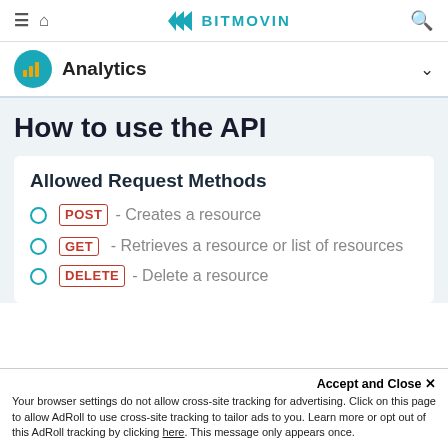≡ 🏠 BITMOVIN 🔍
Analytics
How to use the API
Allowed Request Methods
POST - Creates a resource
GET - Retrieves a resource or list of resources
DELETE - Delete a resource
Accept and Close ×
Your browser settings do not allow cross-site tracking for advertising. Click on this page to allow AdRoll to use cross-site tracking to tailor ads to you. Learn more or opt out of this AdRoll tracking by clicking here. This message only appears once.